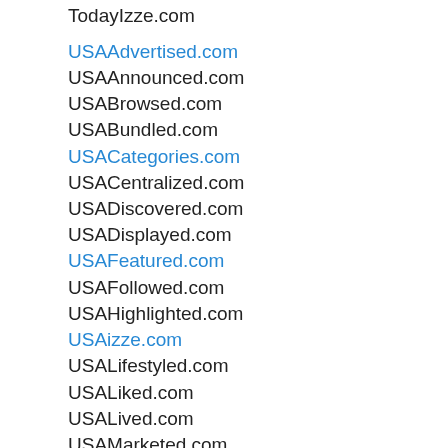TodayIzze.com
USAAdvertised.com
USAAnnounced.com
USABrowsed.com
USABundled.com
USACategories.com
USACentralized.com
USADiscovered.com
USADisplayed.com
USAFeatured.com
USAFollowed.com
USAHighlighted.com
USAizze.com
USALifestyled.com
USALiked.com
USALived.com
USAMarketed.com
USANetworked.com
USAOrganized.com